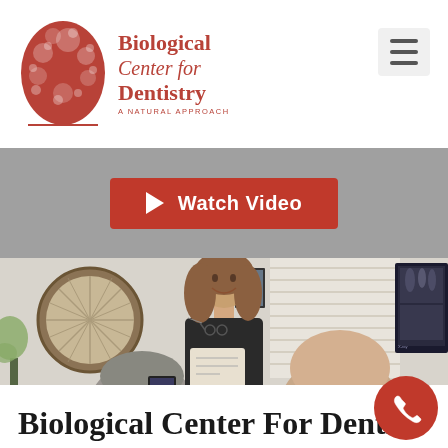[Figure (logo): Biological Center for Dentistry logo with red tree illustration and text]
[Figure (screenshot): Hamburger menu icon (three horizontal lines) in a light gray box]
[Figure (infographic): Red 'Watch Video' button with play triangle icon on gray background]
[Figure (photo): Dental office consultation scene: female dentist in black top smiling, showing something to two male patients; circular wood-frame mirror on wall, window blinds, dental X-rays on monitor visible]
Biological Center For Dentis